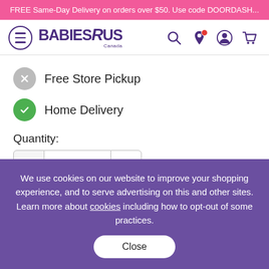FREE Same-Day Delivery on orders over $50. Use code DOORDASH...
[Figure (logo): Babies R Us Canada logo with hamburger menu icon and navigation icons (search, location, account, cart)]
Free Store Pickup
Home Delivery
Quantity:
We use cookies on our website to improve your shopping experience, and to serve advertising on this and other sites. Learn more about cookies including how to opt-out of some practices. Close